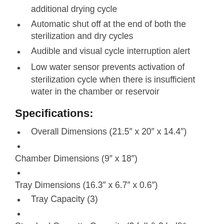additional drying cycle
Automatic shut off at the end of both the sterilization and dry cycles
Audible and visual cycle interruption alert
Low water sensor prevents activation of sterilization cycle when there is insufficient water in the chamber or reservoir
Specifications:
Overall Dimensions (21.5″ x 20″ x 14.4″)
Chamber Dimensions (9″ x 18″)
Tray Dimensions (16.3″ x 6.7″ x 0.6″)
Tray Capacity (3)
Standard Cassette Capacity (2 full & 2 half)*
Standard Unwrapped Cycle Time (Cold 27